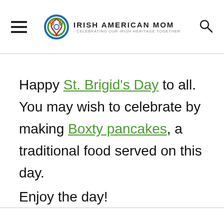Irish American Mom - Celebrating Our Irish Heritage Together
Happy St. Brigid's Day to all. You may wish to celebrate by making Boxty pancakes, a traditional food served on this day.
Enjoy the day!